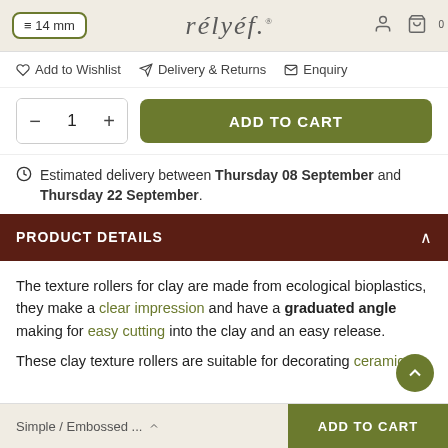14 mm | rélyéf® | 0
♡ Add to Wishlist  ✈ Delivery & Returns  ✉ Enquiry
— 1 +  ADD TO CART
⊙ Estimated delivery between Thursday 08 September and Thursday 22 September.
PRODUCT DETAILS
The texture rollers for clay are made from ecological bioplastics, they make a clear impression and have a graduated angle making for easy cutting into the clay and an easy release.
These clay texture rollers are suitable for decorating ceramic
Simple / Embossed ...  ADD TO CART